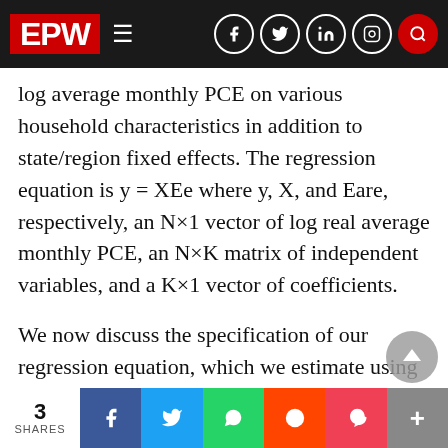EPW
log average monthly PCE on various household characteristics in addition to state/region fixed effects. The regression equation is y = XEe where y, X, and Eare, respectively, an N×1 vector of log real average monthly PCE, an N×K matrix of independent variables, and a K×1 vector of coefficients.
We now discuss the specification of our regression equation, which we estimate using ordinary least squares (OLS) for households in the OCC group, OBCs, SCs and STs, separately. We also discuss the implications of the estimated coefficients on the determinants of living standards. Though the
3 SHARES | Facebook | Twitter | WhatsApp | Reddit | Pocket | More